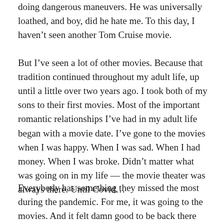doing dangerous maneuvers. He was universally loathed, and boy, did he hate me. To this day, I haven't seen another Tom Cruise movie.
But I've seen a lot of other movies. Because that tradition continued throughout my adult life, up until a little over two years ago. I took both of my sons to their first movies. Most of the important romantic relationships I've had in my adult life began with a movie date. I've gone to the movies when I was happy. When I was sad. When I had money. When I was broke. Didn't matter what was going on in my life — the movie theater was always there. Until Covid…
Everybody has something they missed the most during the pandemic. For me, it was going to the movies. And it felt damn good to be back there again.